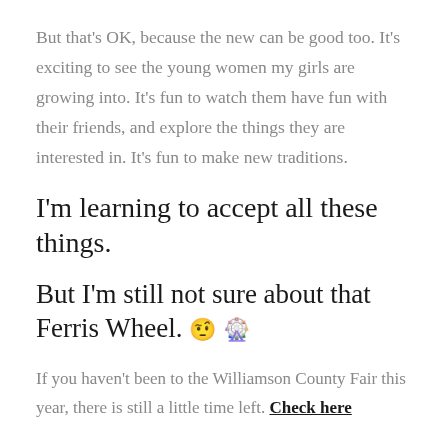But that's OK, because the new can be good too. It's exciting to see the young women my girls are growing into. It's fun to watch them have fun with their friends, and explore the things they are interested in. It's fun to make new traditions.
I'm learning to accept all these things.
But I'm still not sure about that Ferris Wheel. 🤨 🎡
If you haven't been to the Williamson County Fair this year, there is still a little time left. Check here